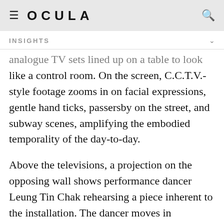≡  OCULA  🔍
INSIGHTS
analogue TV sets lined up on a table to look like a control room. On the screen, C.C.T.V.-style footage zooms in on facial expressions, gentle hand ticks, passersby on the street, and subway scenes, amplifying the embodied temporality of the day-to-day.
Above the televisions, a projection on the opposing wall shows performance dancer Leung Tin Chak rehearsing a piece inherent to the installation. The dancer moves in disjointed, chaotic motions, replicating ways to evade face and body recognition.